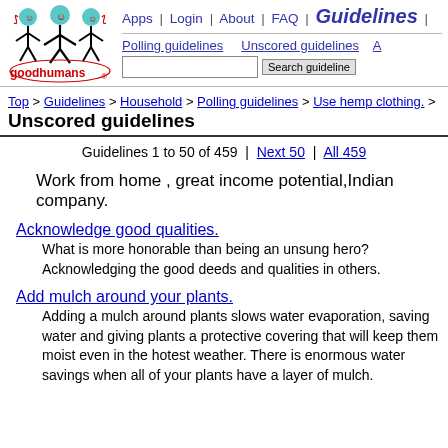[Figure (logo): Goodhumans logo with three cartoon figures and 'goodhumans' text]
Apps | Login | About | FAQ | Guidelines |
Polling guidelines   Unscored guidelines   A
Top > Guidelines > Household > Polling guidelines > Use hemp clothing. >
Unscored guidelines
Guidelines 1 to 50 of 459  |  Next 50  |  All 459
Work from home , great income potential,Indian company.
Acknowledge good qualities.
What is more honorable than being an unsung hero? Acknowledging the good deeds and qualities in others.
Add mulch around your plants.
Adding a mulch around plants slows water evaporation, saving water and giving plants a protective covering that will keep them moist even in the hotest weather. There is enormous water savings when all of your plants have a layer of mulch.